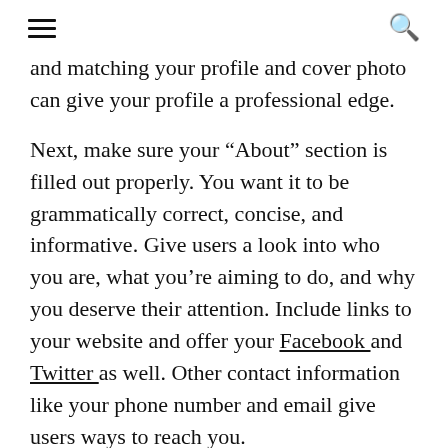[hamburger menu icon] [search icon]
and matching your profile and cover photo can give your profile a professional edge.
Next, make sure your “About” section is filled out properly. You want it to be grammatically correct, concise, and informative. Give users a look into who you are, what you’re aiming to do, and why you deserve their attention. Include links to your website and offer your Facebook and Twitter as well. Other contact information like your phone number and email give users ways to reach you.